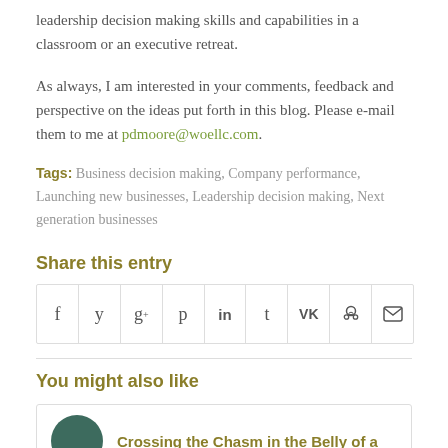leadership decision making skills and capabilities in a classroom or an executive retreat.
As always, I am interested in your comments, feedback and perspective on the ideas put forth in this blog. Please e-mail them to me at pdmoore@woellc.com.
Tags: Business decision making, Company performance, Launching new businesses, Leadership decision making, Next generation businesses
Share this entry
[Figure (other): Social sharing icon bar with Facebook, Twitter, Google+, Pinterest, LinkedIn, Tumblr, VK, Reddit, and Email icons]
You might also like
Crossing the Chasm in the Belly of a